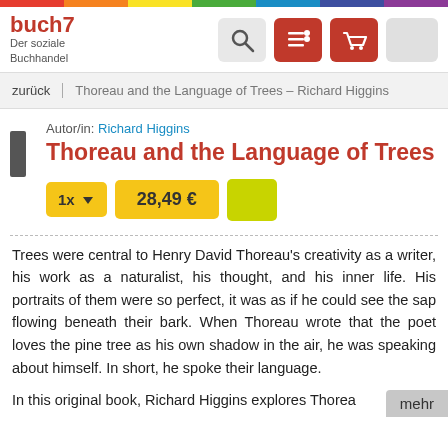[Figure (logo): buch7 logo with rainbow bar and subtitle 'Der soziale Buchhandel']
buch7 Der soziale Buchhandel
zurück | Thoreau and the Language of Trees – Richard Higgins
Autor/in: Richard Higgins
Thoreau and the Language of Trees
1x   28,49 €
Trees were central to Henry David Thoreau's creativity as a writer, his work as a naturalist, his thought, and his inner life. His portraits of them were so perfect, it was as if he could see the sap flowing beneath their bark. When Thoreau wrote that the poet loves the pine tree as his own shadow in the air, he was speaking about himself. In short, he spoke their language.
In this original book, Richard Higgins explores Thorea…